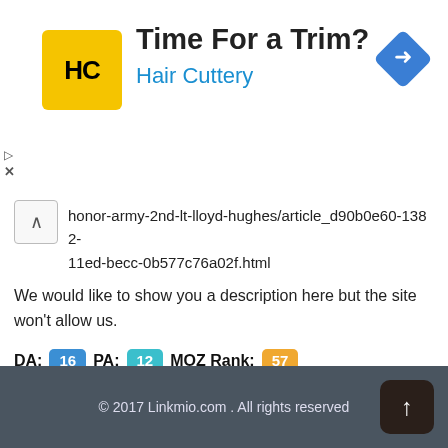[Figure (screenshot): Hair Cuttery advertisement banner with yellow logo showing HC initials, 'Time For a Trim?' headline, 'Hair Cuttery' subtitle in blue, and a blue diamond navigation icon on the right.]
honor-army-2nd-lt-lloyd-hughes/article_d90b0e60-1382-11ed-becc-0b577c76a02f.html
We would like to show you a description here but the site won't allow us.
DA:  16  PA:  12  MOZ Rank:  57
© 2017 Linkmio.com . All rights reserved